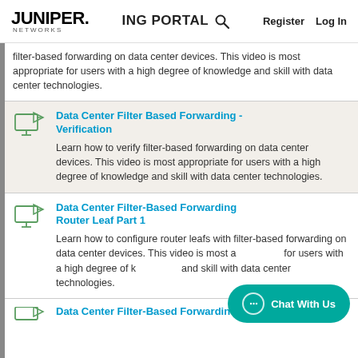JUNIPER NETWORKS | ING PORTAL | Register | Log In
filter-based forwarding on data center devices. This video is most appropriate for users with a high degree of knowledge and skill with data center technologies.
Data Center Filter Based Forwarding - Verification
Learn how to verify filter-based forwarding on data center devices. This video is most appropriate for users with a high degree of knowledge and skill with data center technologies.
Data Center Filter-Based Forwarding Router Leaf Part 1
Learn how to configure router leafs with filter-based forwarding on data center devices. This video is most appropriate for users with a high degree of knowledge and skill with data center technologies.